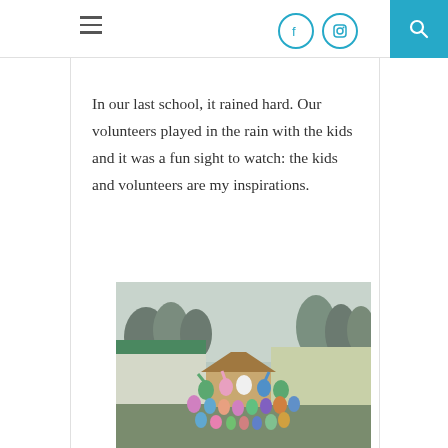In our last school, it rained hard. Our volunteers played in the rain with the kids and it was a fun sight to watch: the kids and volunteers are my inspirations.
[Figure (photo): A large group of children and volunteers wearing colorful rain ponchos (pink, blue, green, purple) posing outdoors in the rain. Behind them are school buildings with a green roof and trees in a misty background.]